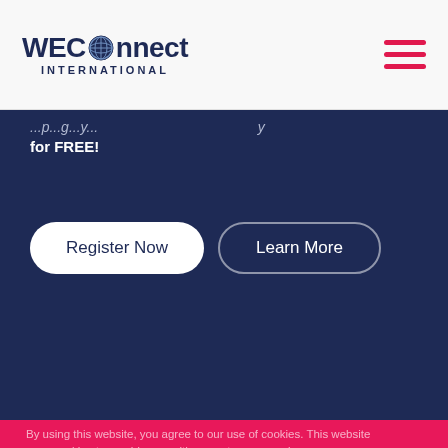WEConnect INTERNATIONAL
for FREE!
Register Now
Learn More
Watch Video
By using this website, you agree to our use of cookies. This website uses cookies to provide you with a great user experience.
CERTIFICATION